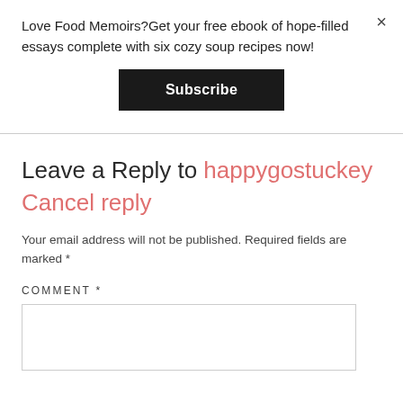Love Food Memoirs?Get your free ebook of hope-filled essays complete with six cozy soup recipes now!
Subscribe
Leave a Reply to happygostuckey Cancel reply
Your email address will not be published. Required fields are marked *
COMMENT *